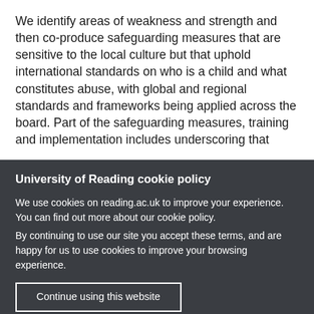We identify areas of weakness and strength and then co-produce safeguarding measures that are sensitive to the local culture but that uphold international standards on who is a child and what constitutes abuse, with global and regional standards and frameworks being applied across the board. Part of the safeguarding measures, training and implementation includes underscoring that
University of Reading cookie policy
We use cookies on reading.ac.uk to improve your experience. You can find out more about our cookie policy.
By continuing to use our site you accept these terms, and are happy for us to use cookies to improve your browsing experience.
Continue using this website